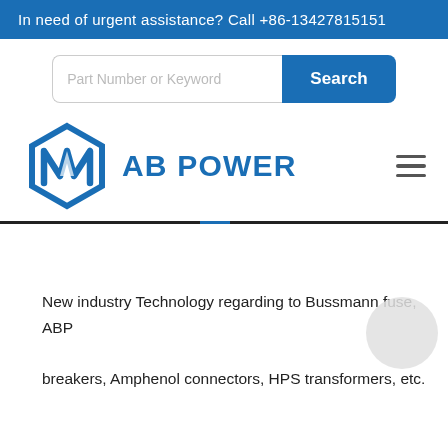In need of urgent assistance? Call +86-13427815151
[Figure (other): Search bar with text input 'Part Number or Keyword' and blue 'Search' button]
[Figure (logo): AB Power logo with blue hexagonal icon and bold blue text 'AB POWER', plus hamburger menu icon on the right]
New industry Technology regarding to Bussmann fuse, ABP breakers, Amphenol connectors, HPS transformers, etc.